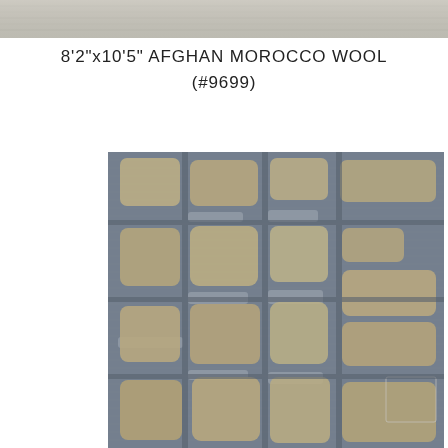[Figure (photo): Top partial view of Afghan Morocco Wool rug showing beige/tan irregular block pattern on a grey-blue textured background]
8'2"x10'5" AFGHAN MOROCCO WOOL (#9699)
[Figure (photo): Close-up photograph of an Afghan Morocco wool rug featuring irregular beige/tan rounded rectangular shapes arranged in a grid-like pattern against a grey-blue textured background, with some lighter grey areas between the shapes]